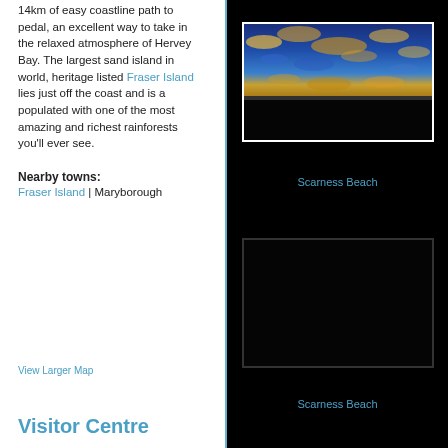14km of easy coastline path to pedal, an excellent way to take in the relaxed atmosphere of Hervey Bay. The largest sand island in world, heritage listed Fraser Island lies just off the coast and is a populated with one of the most amazing and richest rainforests you'll ever see.
Nearby towns:
Fraser Island | Maryborough
[Figure (photo): Sky photo showing blue sky with golden cloud patches at Scarness Beach]
Scarness Beach
[Figure (photo): Dark photo of Scarness Beach]
Scarness Beach
View Larger Map
Visitor Centre